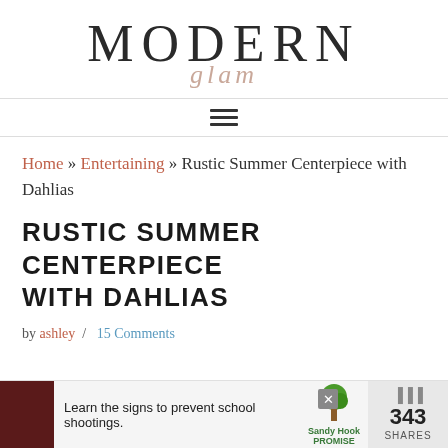[Figure (logo): Modern Glam logo with large serif 'MODERN' text and italic script 'glam' below in rose/blush color]
[Figure (other): Hamburger menu icon with three horizontal lines]
Home » Entertaining » Rustic Summer Centerpiece with Dahlias
RUSTIC SUMMER CENTERPIECE WITH DAHLIAS
by ashley / 15 Comments
[Figure (other): Advertisement banner: Learn the signs to prevent school shootings. Sandy Hook Promise logo. 343 SHARES badge.]